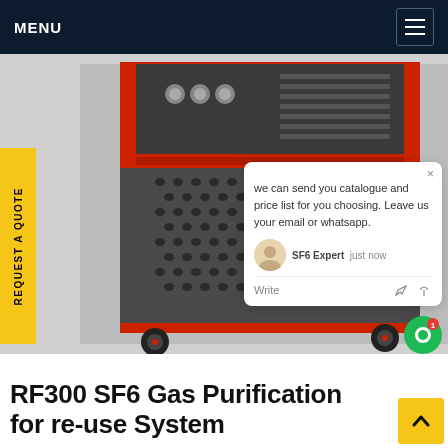MENU
[Figure (photo): RF300 SF6 Gas Purification and re-use system on wheels — a red-framed industrial cart with dark grey perforated metal panels, black casters, and equipment mounted on top. A live chat popup overlay is visible showing a message about sending catalogue and price list.]
REQUEST A QUOTE
RF300 SF6 Gas Purification for re-use System